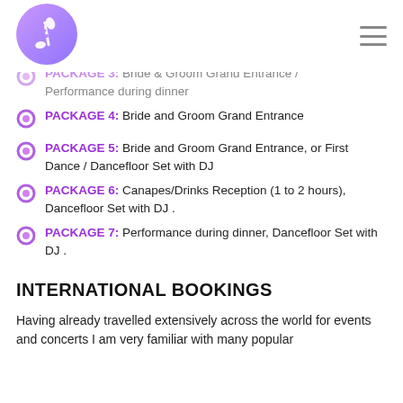Logo and navigation menu
PACKAGE 3: Bride & Groom Grand Entrance / Performance during dinner
PACKAGE 4: Bride and Groom Grand Entrance
PACKAGE 5: Bride and Groom Grand Entrance, or First Dance / Dancefloor Set with DJ
PACKAGE 6: Canapes/Drinks Reception (1 to 2 hours), Dancefloor Set with DJ .
PACKAGE 7: Performance during dinner, Dancefloor Set with DJ .
INTERNATIONAL BOOKINGS
Having already travelled extensively across the world for events and concerts I am very familiar with many popular